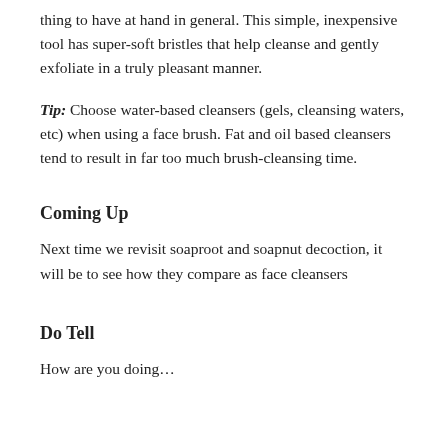thing to have at hand in general. This simple, inexpensive tool has super-soft bristles that help cleanse and gently exfoliate in a truly pleasant manner.
Tip: Choose water-based cleansers (gels, cleansing waters, etc) when using a face brush. Fat and oil based cleansers tend to result in far too much brush-cleansing time.
Coming Up
Next time we revisit soaproot and soapnut decoction, it will be to see how they compare as face cleansers
Do Tell
How are you doing…